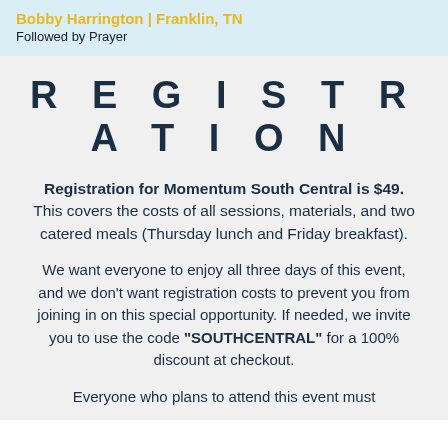Bobby Harrington | Franklin, TN
Followed by Prayer
REGISTRATION
Registration for Momentum South Central is $49. This covers the costs of all sessions, materials, and two catered meals (Thursday lunch and Friday breakfast).
We want everyone to enjoy all three days of this event, and we don't want registration costs to prevent you from joining in on this special opportunity. If needed, we invite you to use the code "SOUTHCENTRAL" for a 100% discount at checkout.
Everyone who plans to attend this event must